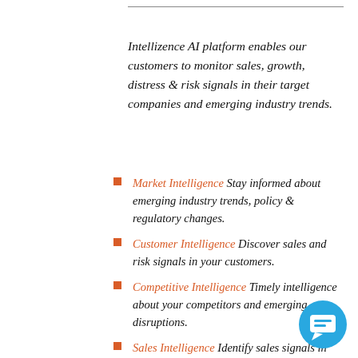Intellizence AI platform enables our customers to monitor sales, growth, distress & risk signals in their target companies and emerging industry trends.
Market Intelligence Stay informed about emerging industry trends, policy & regulatory changes.
Customer Intelligence Discover sales and risk signals in your customers.
Competitive Intelligence Timely intelligence about your competitors and emerging disruptions.
Sales Intelligence Identify sales signals in your prospects and customers.
Risk Intelligence Get timely alerts on